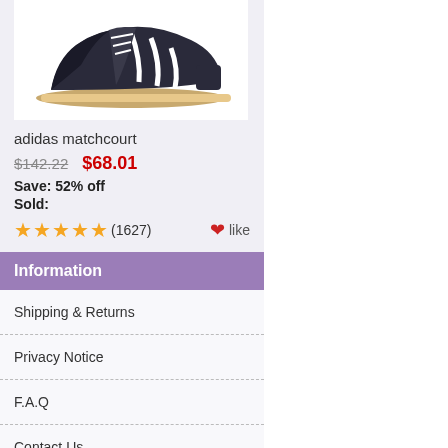[Figure (photo): Adidas matchcourt sneaker shoe, dark navy/black with white stripes and tan sole, viewed from the side at an angle on white background]
adidas matchcourt
$142.22  $68.01
Save: 52% off
Sold:
★★★★★ (1627)  ♥like
Information
Shipping & Returns
Privacy Notice
F.A.Q
Contact Us
Site Map
Gift Certificate FAQ
Discount Coupons